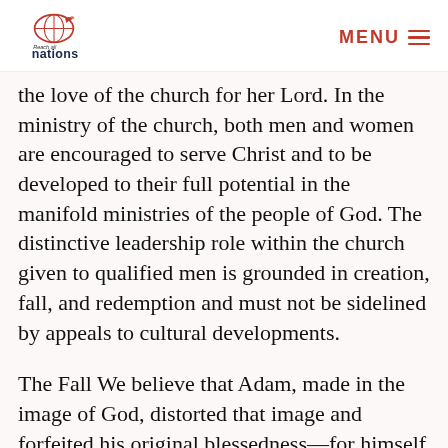Reach All Nations — MENU
the love of the church for her Lord. In the ministry of the church, both men and women are encouraged to serve Christ and to be developed to their full potential in the manifold ministries of the people of God. The distinctive leadership role within the church given to qualified men is grounded in creation, fall, and redemption and must not be sidelined by appeals to cultural developments.
The Fall We believe that Adam, made in the image of God, distorted that image and forfeited his original blessedness—for himself